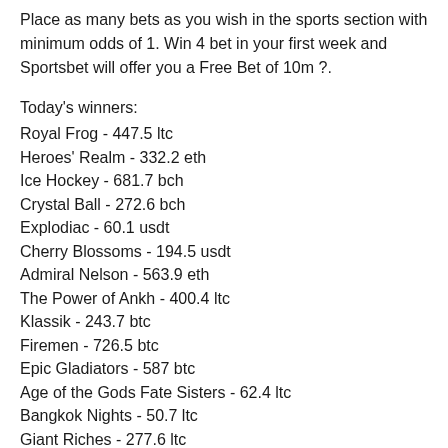Place as many bets as you wish in the sports section with minimum odds of 1. Win 4 bet in your first week and Sportsbet will offer you a Free Bet of 10m ?.
Today's winners:
Royal Frog - 447.5 ltc
Heroes' Realm - 332.2 eth
Ice Hockey - 681.7 bch
Crystal Ball - 272.6 bch
Explodiac - 60.1 usdt
Cherry Blossoms - 194.5 usdt
Admiral Nelson - 563.9 eth
The Power of Ankh - 400.4 ltc
Klassik - 243.7 btc
Firemen - 726.5 btc
Epic Gladiators - 587 btc
Age of the Gods Fate Sisters - 62.4 ltc
Bangkok Nights - 50.7 ltc
Giant Riches - 277.6 ltc
7 Days Spanish Armada - 386 dog